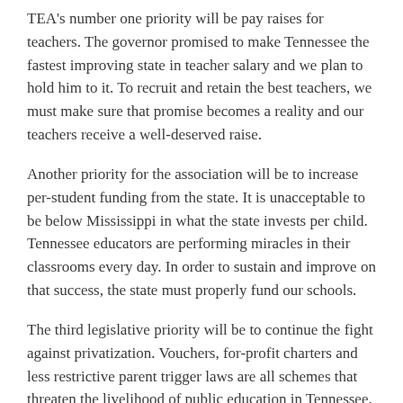TEA's number one priority will be pay raises for teachers. The governor promised to make Tennessee the fastest improving state in teacher salary and we plan to hold him to it. To recruit and retain the best teachers, we must make sure that promise becomes a reality and our teachers receive a well-deserved raise.
Another priority for the association will be to increase per-student funding from the state. It is unacceptable to be below Mississippi in what the state invests per child. Tennessee educators are performing miracles in their classrooms every day. In order to sustain and improve on that success, the state must properly fund our schools.
The third legislative priority will be to continue the fight against privatization. Vouchers, for-profit charters and less restrictive parent trigger laws are all schemes that threaten the livelihood of public education in Tennessee.